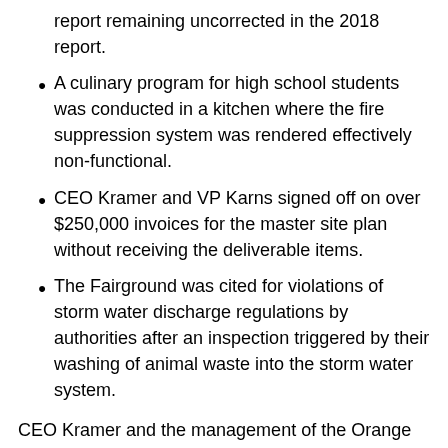report remaining uncorrected in the 2018 report.
A culinary program for high school students was conducted in a kitchen where the fire suppression system was rendered effectively non-functional.
CEO Kramer and VP Karns signed off on over $250,000 invoices for the master site plan without receiving the deliverable items.
The Fairground was cited for violations of storm water discharge regulations by authorities after an inspection triggered by their washing of animal waste into the storm water system.
CEO Kramer and the management of the Orange County Fairground attempts to operate the facility with a lack of transparency…